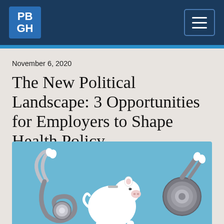PBGH
November 6, 2020
The New Political Landscape: 3 Opportunities for Employers to Shape Health Policy
[Figure (photo): A stethoscope on the left, a white piggy bank in the center, and another stethoscope on the right, all arranged on a light blue background.]